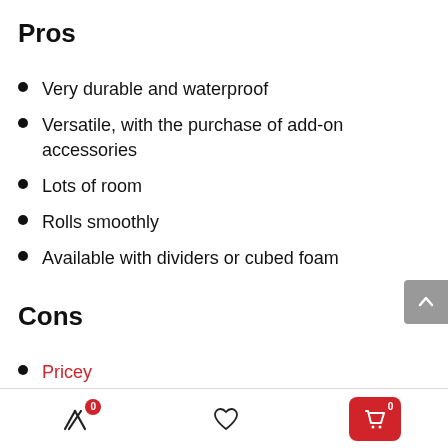Pros
Very durable and waterproof
Versatile, with the purchase of add-on accessories
Lots of room
Rolls smoothly
Available with dividers or cubed foam
Cons
Pricey
Handle takes two hands to unlock
Accessories push the case over the carry-on limit
Navigation bar with compare, wishlist, and cart icons